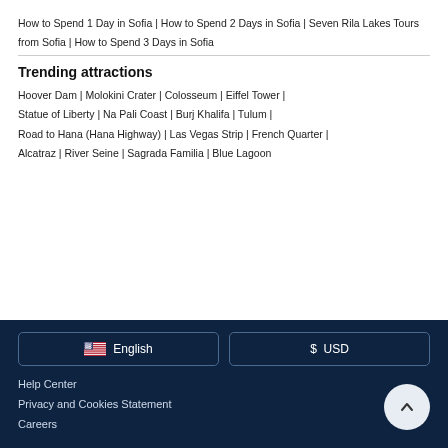How to Spend 1 Day in Sofia | How to Spend 2 Days in Sofia | Seven Rila Lakes Tours from Sofia | How to Spend 3 Days in Sofia
Trending attractions
Hoover Dam | Molokini Crater | Colosseum | Eiffel Tower | Statue of Liberty | Na Pali Coast | Burj Khalifa | Tulum | Road to Hana (Hana Highway) | Las Vegas Strip | French Quarter | Alcatraz | River Seine | Sagrada Familia | Blue Lagoon
English
$ USD
Help Center
Privacy and Cookies Statement
Careers